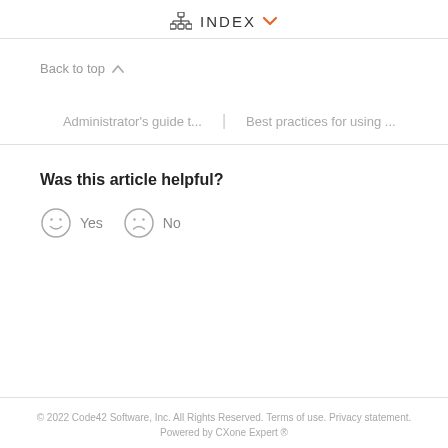INDEX
Back to top ∧
Administrator's guide t... | Best practices for using ...
Was this article helpful?
Yes  No
© 2022 Code42 Software, Inc. All Rights Reserved. Terms of use. Privacy statement. Powered by CXone Expert ®